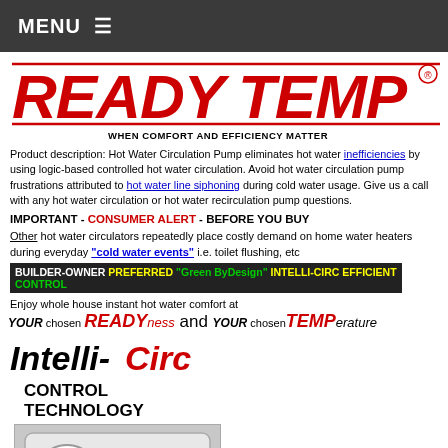MENU ☰
[Figure (logo): ReadyTemp logo in red italic text with registered trademark symbol and tagline WHEN COMFORT AND EFFICIENCY MATTER]
Product description: Hot Water Circulation Pump eliminates hot water inefficiencies by using logic-based controlled hot water circulation. Avoid hot water circulation pump frustrations attributed to hot water line siphoning during cold water usage. Give us a call with any hot water circulation or hot water recirculation pump questions.
IMPORTANT - CONSUMER ALERT - BEFORE YOU BUY
Other hot water circulators repeatedly place costly demand on home water heaters during everyday "cold water events" i.e. toilet flushing, etc
BUILDER-OWNER PREFERRED "Green ByDesign" INTELLI-CIRC EFFICIENT CONTROL
Enjoy whole house instant hot water comfort at
YOUR chosen READYness and YOUR chosen TEMPerature
[Figure (logo): Intelli-Circ logo in black italic bold text with red Circ, followed by CONTROL TECHNOLOGY in black bold]
[Figure (photo): Photo of a hot water circulation pump control device with a round red dial and digital display panel]